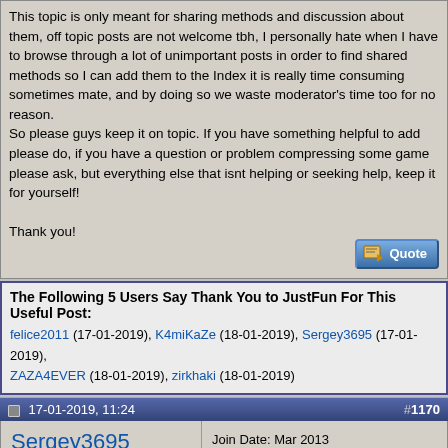This topic is only meant for sharing methods and discussion about them, off topic posts are not welcome tbh, I personally hate when I have to browse through a lot of unimportant posts in order to find shared methods so I can add them to the Index it is really time consuming sometimes mate, and by doing so we waste moderator's time too for no reason.
So please guys keep it on topic. If you have something helpful to add please do, if you have a question or problem compressing some game please ask, but everything else that isnt helping or seeking help, keep it for yourself!

Thank you!
The Following 5 Users Say Thank You to JustFun For This Useful Post:
felice2011 (17-01-2019), K4miKaZe (18-01-2019), Sergey3695 (17-01-2019), ZAZA4EVER (18-01-2019), zirkhaki (18-01-2019)
17-01-2019, 11:24   #1170
Sergey3695
Registered User
Join Date: Mar 2013
Location: Russia
Posts: 81
Thanks: 41
Thanked 71 Times in 38 Posts
Quote:
Originally Posted by JustFun
default settings